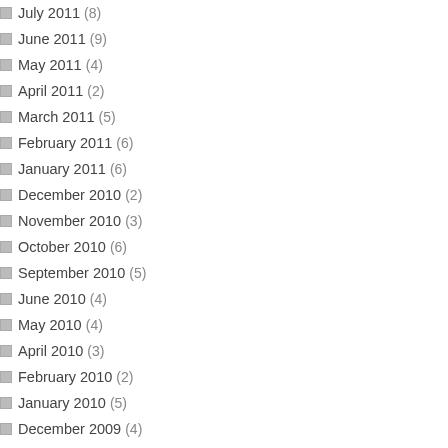July 2011 (8)
June 2011 (9)
May 2011 (4)
April 2011 (2)
March 2011 (5)
February 2011 (6)
January 2011 (6)
December 2010 (2)
November 2010 (3)
October 2010 (6)
September 2010 (5)
June 2010 (4)
May 2010 (4)
April 2010 (3)
February 2010 (2)
January 2010 (5)
December 2009 (4)
November 2009 (7)
October 2009 (8)
September 2009 (1)
August 2009 (3)
July 2009 (3)
June 2009 (2)
May 2009 (3)
April 2009 (1)
March 2009 (6)
February 2009 (6)
n e a bit , b ut w h at th e N e w Y or k Ti m es p u bli sh e d A pr il